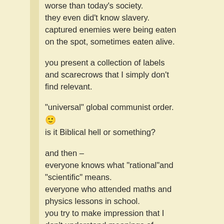worse than today's society.
they even did't know slavery.
captured enemies were being eaten
on the spot, sometimes eaten alive.
you present a collection of labels
and scarecrows that I simply don't
find relevant.
“universal” global communist order.
🙂
is it Biblical hell or something?
and then –
everyone knows what “rational”and
“scientific” means.
everyone who attended maths and
physics lessons in school.
you try to make impression that I
don't understand meanings of
words, – well, it is up to readers to
decide how covincing you are.
it is a bit simplistic way of arguing,
just to deny your opponent using
keywords, declare things you can't
discover "abolutist communist" and